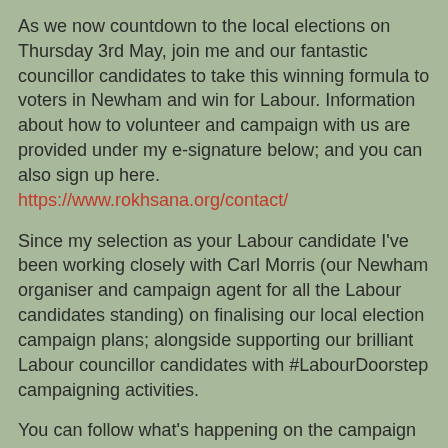As we now countdown to the local elections on Thursday 3rd May, join me and our fantastic councillor candidates to take this winning formula to voters in Newham and win for Labour. Information about how to volunteer and campaign with us are provided under my e-signature below; and you can also sign up here. https://www.rokhsana.org/contact/
Since my selection as your Labour candidate I've been working closely with Carl Morris (our Newham organiser and campaign agent for all the Labour candidates standing) on finalising our local election campaign plans; alongside supporting our brilliant Labour councillor candidates with #LabourDoorstep campaigning activities.
You can follow what's happening on the campaign trial via my Facebook campaign page here: https://www.facebook.com/Rokhsana4Newham and the Newham Labour Facebook page here: https://www.facebook.com/newhamlabour/
Please like and share follow both